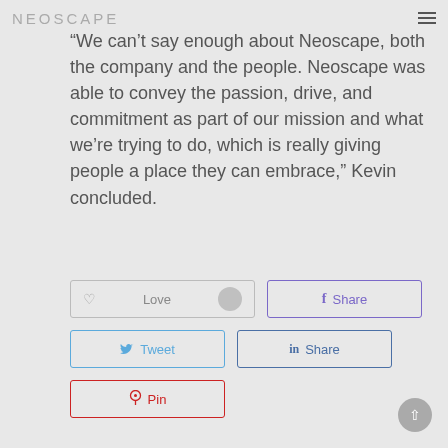NEOSCAPE
“We can’t say enough about Neoscape, both the company and the people. Neoscape was able to convey the passion, drive, and commitment as part of our mission and what we’re trying to do, which is really giving people a place they can embrace,” Kevin concluded.
Love | Share | Tweet | Share | Pin (social share buttons)